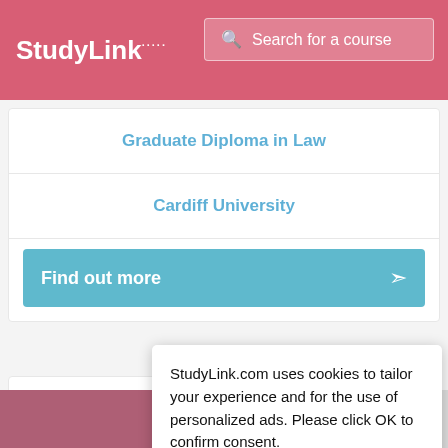StudyLink   Search for a course
Graduate Diploma in Law
Cardiff University
Find out more
Grad...
Facu...
StudyLink.com uses cookies to tailor your experience and for the use of personalized ads. Please click OK to confirm consent.
Learn more in our privacy policy
OK